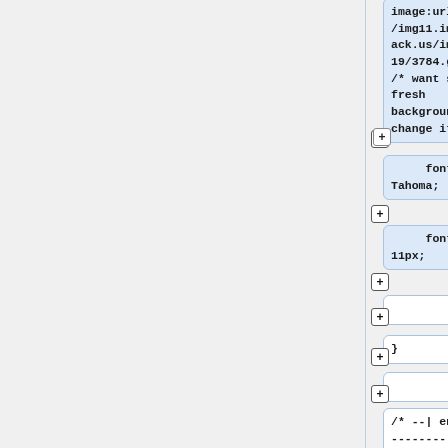image:url('http://img11.imageshack.us/img11/6719/3784.gif');
/* want some fresh background? change it here */
font-family: Tahoma;
font-size: 11px;
}
/* --| end |------------------------------- */
/* --| http link